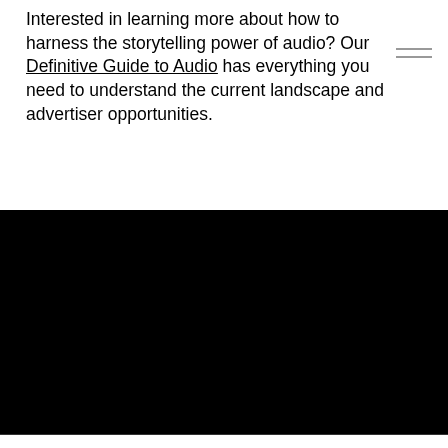Interested in learning more about how to harness the storytelling power of audio? Our Definitive Guide to Audio has everything you need to understand the current landscape and advertiser opportunities.
No spam here. Just digital audio news and trends you'll want to hear.
Email Address